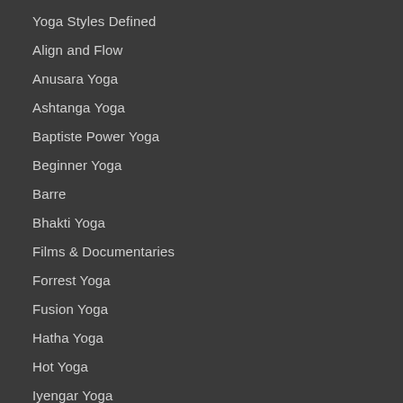Yoga Styles Defined
Align and Flow
Anusara Yoga
Ashtanga Yoga
Baptiste Power Yoga
Beginner Yoga
Barre
Bhakti Yoga
Films & Documentaries
Forrest Yoga
Fusion Yoga
Hatha Yoga
Hot Yoga
Iyengar Yoga
Jivamukti Yoga
Kid's Yoga
Kundalini Yoga